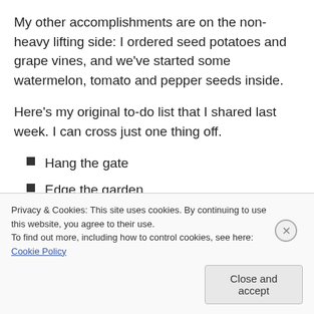My other accomplishments are on the non-heavy lifting side: I ordered seed potatoes and grape vines, and we've started some watermelon, tomato and pepper seeds inside.
Here's my original to-do list that I shared last week. I can cross just one thing off.
Hang the gate
Edge the garden
Build raised beds around the perimeter
Privacy & Cookies: This site uses cookies. By continuing to use this website, you agree to their use.
To find out more, including how to control cookies, see here: Cookie Policy
Close and accept